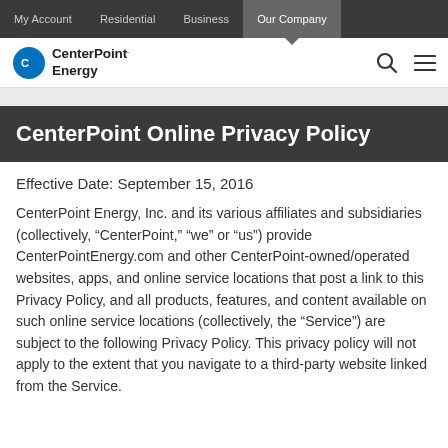My Account | Residential | Business | Our Company
[Figure (logo): CenterPoint Energy logo with blue circular icon on left and bold text 'CenterPoint Energy' on right]
CenterPoint Online Privacy Policy
Effective Date: September 15, 2016
CenterPoint Energy, Inc. and its various affiliates and subsidiaries (collectively, “CenterPoint,” “we” or “us”) provide CenterPointEnergy.com and other CenterPoint-owned/operated websites, apps, and online service locations that post a link to this Privacy Policy, and all products, features, and content available on such online service locations (collectively, the “Service”) are subject to the following Privacy Policy. This privacy policy will not apply to the extent that you navigate to a third-party website linked from the Service.